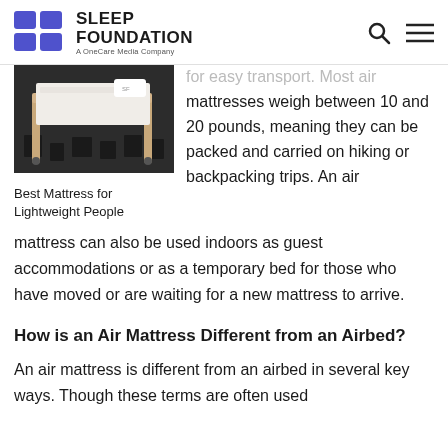SLEEP FOUNDATION — A OneCare Media Company
[Figure (photo): Photo of a wooden bed frame with white mattress on a dark patterned rug]
Best Mattress for Lightweight People
for easy transport. Most air mattresses weigh between 10 and 20 pounds, meaning they can be packed and carried on hiking or backpacking trips. An air mattress can also be used indoors as guest accommodations or as a temporary bed for those who have moved or are waiting for a new mattress to arrive.
How is an Air Mattress Different from an Airbed?
An air mattress is different from an airbed in several key ways. Though these terms are often used